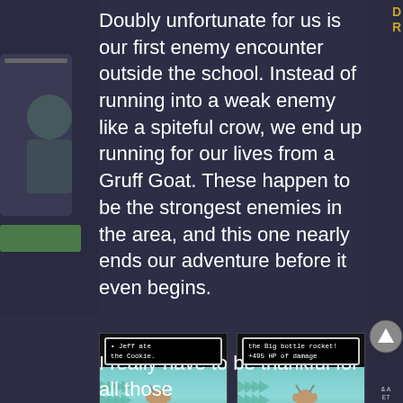Doubly unfortunate for us is our first enemy encounter outside the school. Instead of running into a weak enemy like a spiteful crow, we end up running for our lives from a Gruff Goat. These happen to be the strongest enemies in the area, and this one nearly ends our adventure before it even begins.
[Figure (screenshot): Two side-by-side video game screenshots showing a battle scene with a Gruff Goat enemy. Left screenshot shows dialog '• Jeff ate the Cookie.' Right screenshot shows dialog 'the Big bottle rocket! +495 HP of damage']
I really have to be thankful for all those